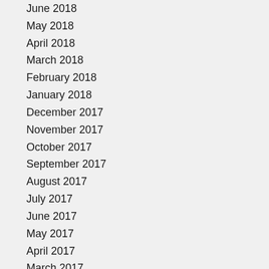June 2018
May 2018
April 2018
March 2018
February 2018
January 2018
December 2017
November 2017
October 2017
September 2017
August 2017
July 2017
June 2017
May 2017
April 2017
March 2017
February 2017
January 2017
December 2016